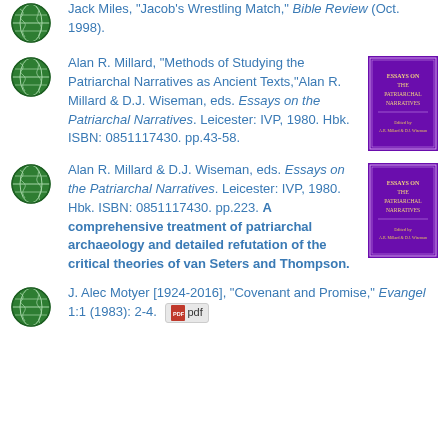Jack Miles, "Jacob's Wrestling Match," Bible Review (Oct. 1998).
Alan R. Millard, "Methods of Studying the Patriarchal Narratives as Ancient Texts,"Alan R. Millard & D.J. Wiseman, eds. Essays on the Patriarchal Narratives. Leicester: IVP, 1980. Hbk. ISBN: 0851117430. pp.43-58.
Alan R. Millard & D.J. Wiseman, eds. Essays on the Patriarchal Narratives. Leicester: IVP, 1980. Hbk. ISBN: 0851117430. pp.223. A comprehensive treatment of patriarchal archaeology and detailed refutation of the critical theories of van Seters and Thompson.
J. Alec Motyer [1924-2016], "Covenant and Promise," Evangel 1:1 (1983): 2-4. [pdf]